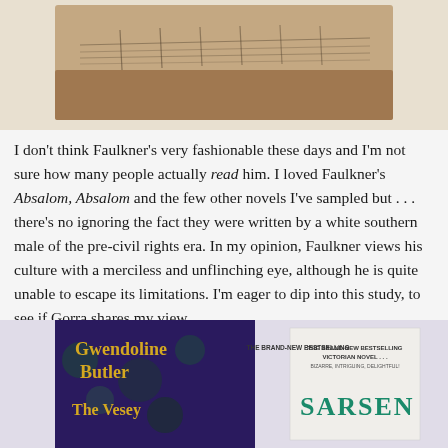[Figure (photo): Top portion of a book or artwork showing a landscape with a fence line, brown and tan tones]
I don't think Faulkner's very fashionable these days and I'm not sure how many people actually read him. I loved Faulkner's Absalom, Absalom and the few other novels I've sampled but . . . there's no ignoring the fact they were written by a white southern male of the pre-civil rights era. In my opinion, Faulkner views his culture with a merciless and unflinching eye, although he is quite unable to escape its limitations. I'm eager to dip into this study, to see if Gorra shares my view . . .
[Figure (photo): Bottom portion showing two book covers: 'Gwendoline Butler - The Vesey' (dark blue/purple with gold text and floral design) and 'Sarsen' (white book with green text and Victorian novel description)]